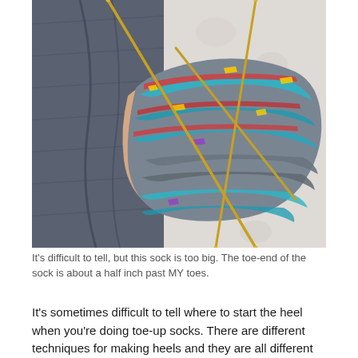[Figure (photo): A close-up photo of a foot wearing a colorful knitted sock in progress, with gold knitting needles visible. The sock has multicolor yarn with blue, red, yellow, teal, and gray stripes. The foot rests on a white textured surface and is partially covered by denim jeans.]
It's difficult to tell, but this sock is too big. The toe-end of the sock is about a half inch past MY toes.
It's sometimes difficult to tell where to start the heel when you're doing toe-up socks. There are different techniques for making heels and they are all different lengths, so I've learned. The last heel technique I tried